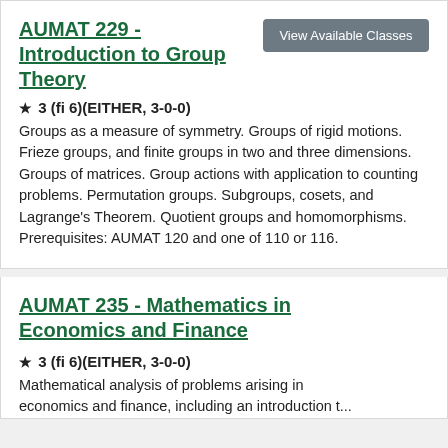AUMAT 229 - Introduction to Group Theory
View Available Classes
★ 3 (fi 6)(EITHER, 3-0-0)
Groups as a measure of symmetry. Groups of rigid motions. Frieze groups, and finite groups in two and three dimensions. Groups of matrices. Group actions with application to counting problems. Permutation groups. Subgroups, cosets, and Lagrange's Theorem. Quotient groups and homomorphisms. Prerequisites: AUMAT 120 and one of 110 or 116.
AUMAT 235 - Mathematics in Economics and Finance
★ 3 (fi 6)(EITHER, 3-0-0)
Mathematical analysis of problems arising in economics and finance, including an introduction to...